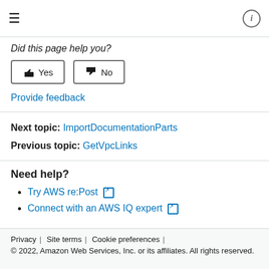≡  ⓘ
Did this page help you?
👍 Yes   👎 No
Provide feedback
Next topic: ImportDocumentationParts
Previous topic: GetVpcLinks
Need help?
Try AWS re:Post ↗
Connect with an AWS IQ expert ↗
Privacy | Site terms | Cookie preferences | © 2022, Amazon Web Services, Inc. or its affiliates. All rights reserved.